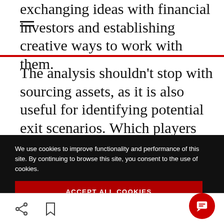exchanging ideas with financial investors and establishing creative ways to work with them.
The analysis shouldn't stop with sourcing assets, as it is also useful for identifying potential exit scenarios. Which players have gaps in their portfolios that could be filled with carved-out assets? Is there a collection
We use cookies to improve functionality and performance of this site. By continuing to browse this site, you consent to the use of cookies.
ACCEPT ALL COOKIES